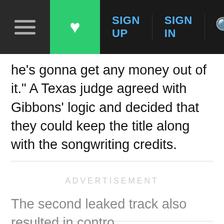SIGN UP  SIGN IN
he's gonna get any money out of it." A Texas judge agreed with Gibbons' logic and decided that they could keep the title along with the songwriting credits.
ADVERTISEMENT
The second leaked track also resulted in contro...